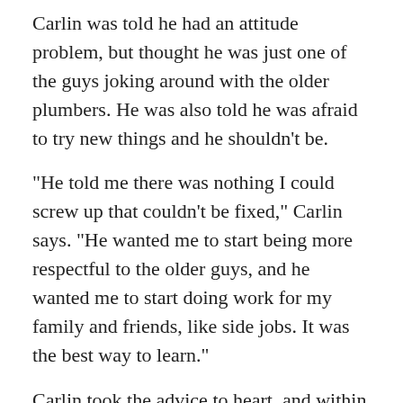Carlin was told he had an attitude problem, but thought he was just one of the guys joking around with the older plumbers. He was also told he was afraid to try new things and he shouldn't be.
“He told me there was nothing I could screw up that couldn’t be fixed,” Carlin says. “He wanted me to start being more respectful to the older guys, and he wanted me to start doing work for my family and friends, like side jobs. It was the best way to learn.”
Carlin took the advice to heart, and within a year he was supervising his own crew.
“He kind of created a monster because I started doing side jobs left and right, and that’s all I did,” Carlin says. “I told everybody I was a plumber and I could fix it. I started doing side jobs, and then 12 years later it just got out of control because I was working 70, 80, 90 hours a week.”